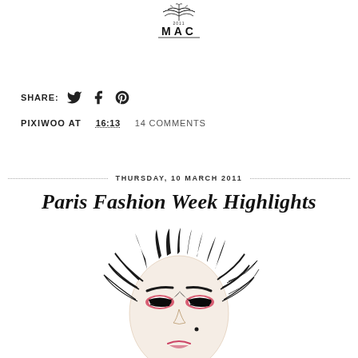[Figure (logo): MAC cosmetics logo with decorative crown/feather motif above text 'MAC' with '2011' beneath the motif]
SHARE: [twitter icon] [facebook icon] [pinterest icon]
PIXIWOO AT 16:13   14 COMMENTS
THURSDAY, 10 MARCH 2011
Paris Fashion Week Highlights
[Figure (illustration): Fashion illustration of a woman's face with dramatic makeup featuring bold black eyeliner and red/pink eye shadow, with dark wispy hair framing the face]